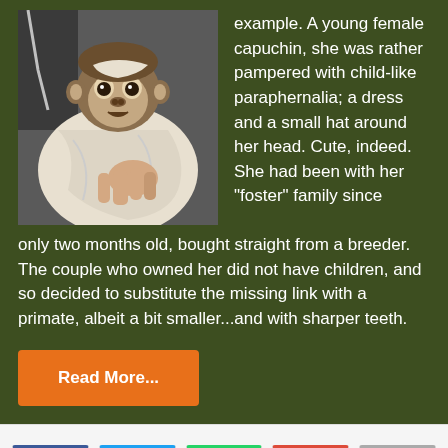[Figure (photo): A young female capuchin monkey wrapped in a white cloth/towel, held by human hands. The monkey has a surprised expression.]
example. A young female capuchin, she was rather pampered with child-like paraphernalia; a dress and a small hat around her head. Cute, indeed. She had been with her "foster" family since only two months old, bought straight from a breeder. The couple who owned her did not have children, and so decided to substitute the missing link with a primate, albeit a bit smaller...and with sharper teeth.
Read More...